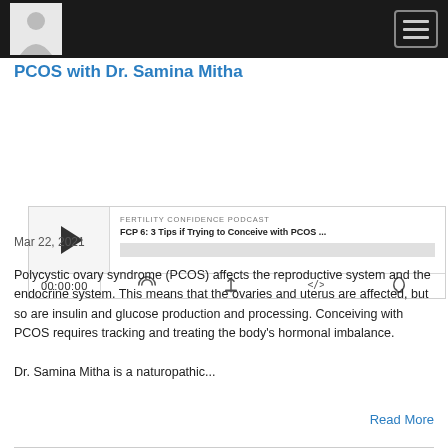PCOS with Dr. Samina Mitha
PCOS with Dr. Samina Mitha
[Figure (screenshot): Podcast player widget for 'FCP 6: 3 Tips if Trying to Conceive with PCOS ...' from Fertility Confidence Podcast, showing play button, progress bar, time 00:00:00, and control icons]
Mar 22, 2021
Polycystic ovary syndrome (PCOS) affects the reproductive system and the endocrine system. This means that the ovaries and uterus are affected, but so are insulin and glucose production and processing. Conceiving with PCOS requires tracking and treating the body's hormonal imbalance.

Dr. Samina Mitha is a naturopathic...
Read More